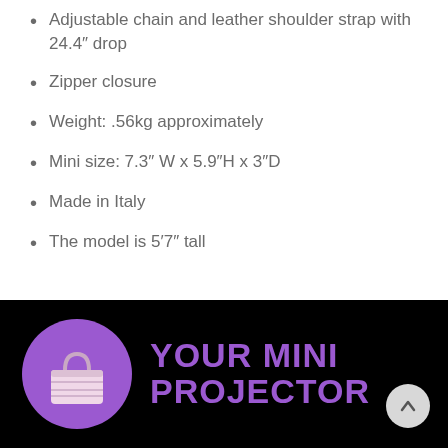Adjustable chain and leather shoulder strap with 24.4" drop
Zipper closure
Weight: .56kg approximately
Mini size: 7.3" W x 5.9"H x 3"D
Made in Italy
The model is 5'7" tall
[Figure (logo): Black footer banner with purple circle logo containing a white mini handbag icon and bold purple text reading YOUR MINI PROJECTOR]